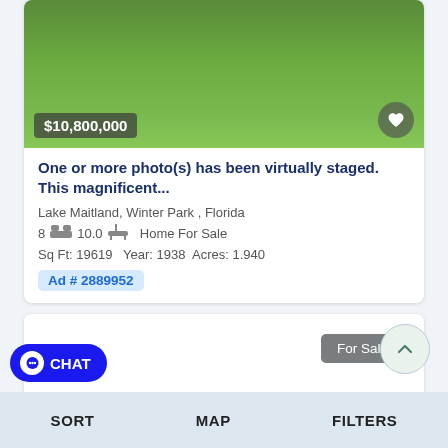[Figure (photo): Property photo showing green grass lawn with landscaping, partially cropped at top. Price overlay $10,800,000 and heart button visible.]
One or more photo(s) has been virtually staged. This magnificent...
Lake Maitland, Winter Park , Florida
8 [bed icon] 10.0 [bath icon]  Home For Sale
Sq Ft: 19619  Year: 1938  Acres: 1.940
Ad # 2889952
[Figure (screenshot): Second listing card showing For Sale badge, partially visible.]
For Sale
CHAT
SORT   MAP   FILTERS